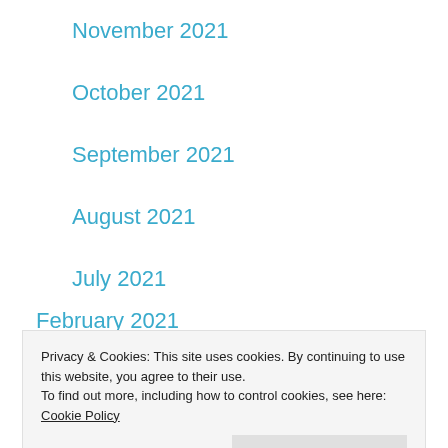November 2021
October 2021
September 2021
August 2021
July 2021
June 2021
May 2021
April 2021
March 2021
February 2021
Privacy & Cookies: This site uses cookies. By continuing to use this website, you agree to their use.
To find out more, including how to control cookies, see here: Cookie Policy
August 2020